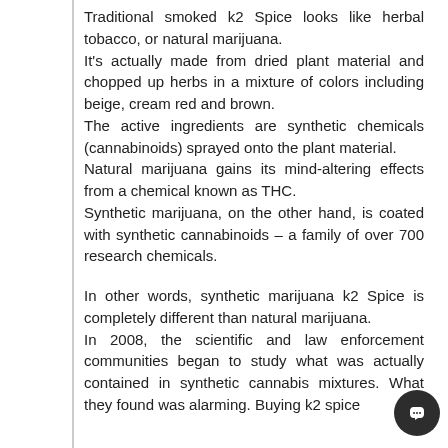Traditional smoked k2 Spice looks like herbal tobacco, or natural marijuana.
It's actually made from dried plant material and chopped up herbs in a mixture of colors including beige, cream red and brown.
The active ingredients are synthetic chemicals (cannabinoids) sprayed onto the plant material.
Natural marijuana gains its mind-altering effects from a chemical known as THC.
Synthetic marijuana, on the other hand, is coated with synthetic cannabinoids – a family of over 700 research chemicals.
In other words, synthetic marijuana k2 Spice is completely different than natural marijuana.
In 2008, the scientific and law enforcement communities began to study what was actually contained in synthetic cannabis mixtures. What they found was alarming. Buying k2 spice